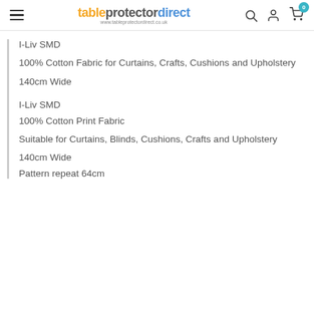tableprotectordirect — www.tableprotectordirect.co.uk
I-Liv SMD
100% Cotton Fabric for Curtains, Crafts, Cushions and Upholstery
140cm Wide
I-Liv SMD
100% Cotton Print Fabric
Suitable for Curtains, Blinds, Cushions, Crafts and Upholstery
140cm Wide
Pattern repeat 64cm